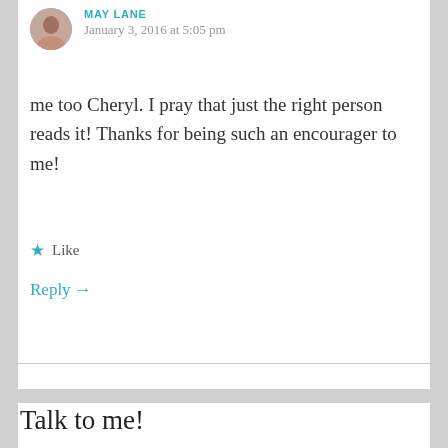January 3, 2016 at 5:05 pm
me too Cheryl. I pray that just the right person reads it! Thanks for being such an encourager to me!
★ Like
Reply →
Talk to me!
Your email address will not be published. Required fields are marked *
COMMENT *